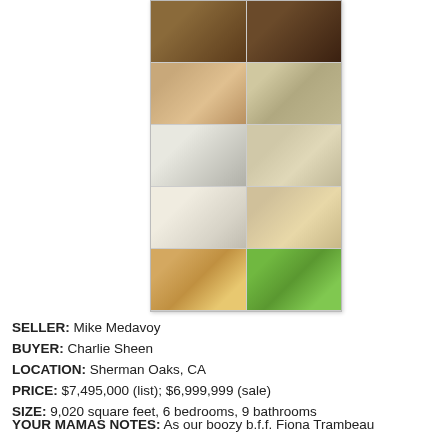[Figure (photo): Collage of 10 real estate photos showing interior rooms (living room, dining room, bedrooms) and exterior/pool areas of a luxury home in Sherman Oaks, CA]
SELLER: Mike Medavoy
BUYER: Charlie Sheen
LOCATION: Sherman Oaks, CA
PRICE: $7,495,000 (list); $6,999,999 (sale)
SIZE: 9,020 square feet, 6 bedrooms, 9 bathrooms
YOUR MAMAS NOTES: As our boozy b.f.f. Fiona Trambeau